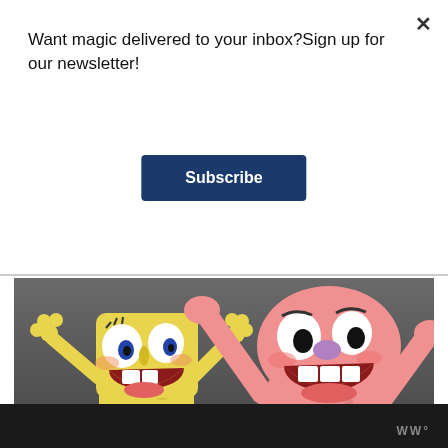Want magic delivered to your inbox?Sign up for our newsletter!
Subscribe
[Figure (illustration): Cartoon image of SpongeBob SquarePants and Patrick Star from the animated TV show, both smiling with arms raised excitedly, against a grey background. Social action buttons (heart, count '1', share) overlay the right side of the image.]
Source
WW°